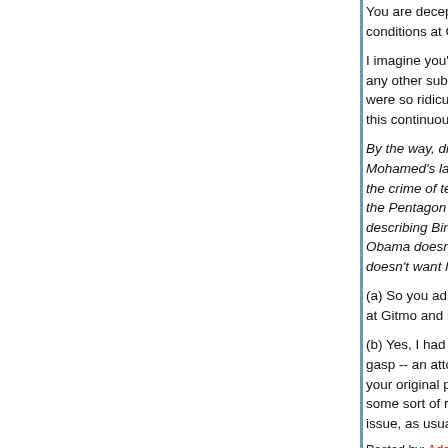You are deceptively referring to some secondhand conditions at Gitmo, which is not even remotely th
I imagine you're aware of this, because you still re any other substantiation for your claim), which I o were so ridiculous. You were, I imagine, hoping th this continuous fusillade of nonsense you spout w
By the way, did you know that on May 11th, Clive Mohamed's lawyer, director of Reprieve, will appe the crime of telling President Barack Obama that the Pentagon had redacted the whole of a memo describing Binyam Mohamed's treatment in Guan Obama doesn't have clearance to know that there doesn't want him to know about prisoners being t
(a) So you admit that you were referring to the art at Gitmo and not -- repeat not full stop -- interroga
(b) Yes, I had heard about Clive's case, from a fri gasp -- an attorney for detainees. What in the wo your original point? Do you just assume that anyc some sort of rightwing ideologue? (FWIW, you're issue, as usual.)
Posted by: Adam | April 22, 2009 at 07:31 PM